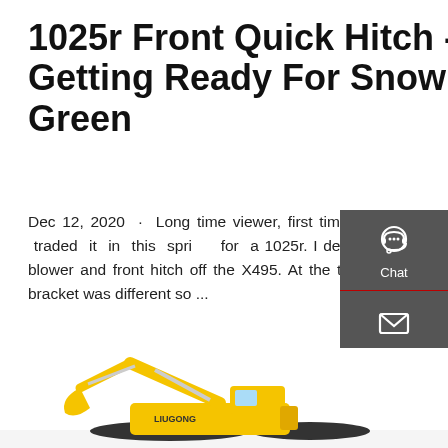1025r Front Quick Hitch - Getting Ready For Snow! | Green
Dec 12, 2020 · Long time viewer, first time poster. I had a X495 JD and traded it in this spring for a 1025r. I decided to keep the old 47 inch snow blower and front hitch off the X495. At the time I knew the front PTO and sub bracket was different so ...
Get a Quote
[Figure (illustration): Yellow LiuGong excavator/construction machine at the bottom of the page]
[Figure (infographic): Dark side panel with Chat, Email, and Contact icons/buttons]